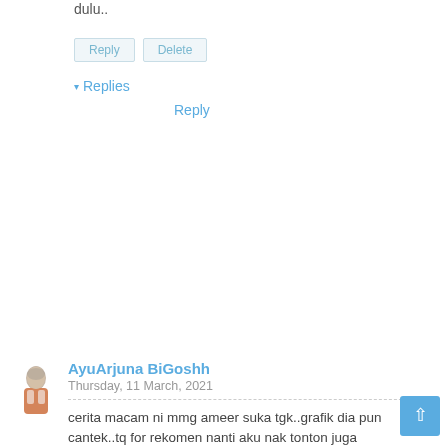dulu..
Reply   Delete
▾ Replies
Reply
AyuArjuna BiGoshh
Thursday, 11 March, 2021
cerita macam ni mmg ameer suka tgk..grafik dia pun cantek..tq for rekomen nanti aku nak tonton juga